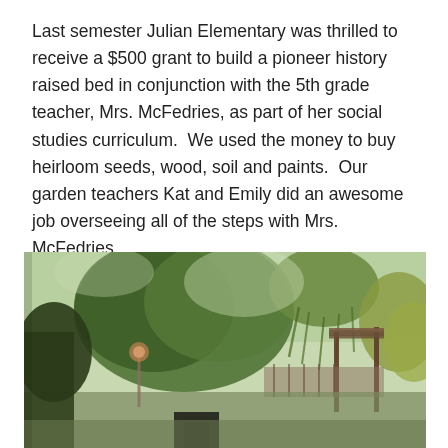Last semester Julian Elementary was thrilled to receive a $500 grant to build a pioneer history raised bed in conjunction with the 5th grade teacher, Mrs. McFedries, as part of her social studies curriculum.  We used the money to buy heirloom seeds, wood, soil and paints.  Our garden teachers Kat and Emily did an awesome job overseeing all of the steps with Mrs. McFedries.
We chose to take out a raised bed that we inherited ten years ago and was falling apart.
[Figure (photo): Outdoor garden area with large leafy trees including a weeping willow, a wooden pergola or overhead structure on the right, and some garden elements visible at the bottom. The photo has a slightly faded, warm tone.]